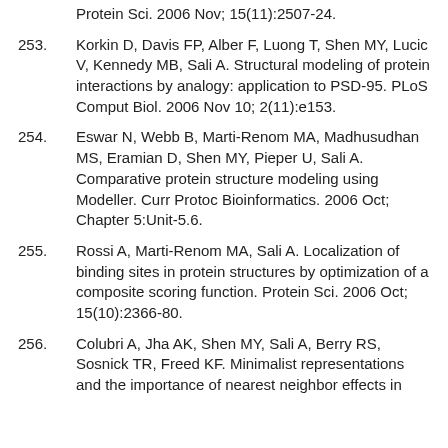Protein Sci. 2006 Nov; 15(11):2507-24.
253. Korkin D, Davis FP, Alber F, Luong T, Shen MY, Lucic V, Kennedy MB, Sali A. Structural modeling of protein interactions by analogy: application to PSD-95. PLoS Comput Biol. 2006 Nov 10; 2(11):e153.
254. Eswar N, Webb B, Marti-Renom MA, Madhusudhan MS, Eramian D, Shen MY, Pieper U, Sali A. Comparative protein structure modeling using Modeller. Curr Protoc Bioinformatics. 2006 Oct; Chapter 5:Unit-5.6.
255. Rossi A, Marti-Renom MA, Sali A. Localization of binding sites in protein structures by optimization of a composite scoring function. Protein Sci. 2006 Oct; 15(10):2366-80.
256. Colubri A, Jha AK, Shen MY, Sali A, Berry RS, Sosnick TR, Freed KF. Minimalist representations and the importance of nearest neighbor effects in